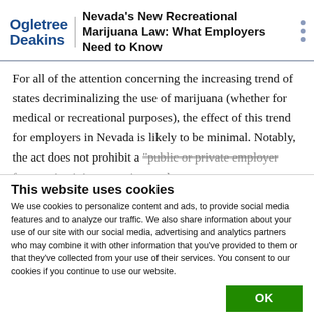Ogletree Deakins | Nevada's New Recreational Marijuana Law: What Employers Need to Know
For all of the attention concerning the increasing trend of states decriminalizing the use of marijuana (whether for medical or recreational purposes), the effect of this trend for employers in Nevada is likely to be minimal. Notably, the act does not prohibit a "public or private employer from maintaining, enacting, and
This website uses cookies
We use cookies to personalize content and ads, to provide social media features and to analyze our traffic. We also share information about your use of our site with our social media, advertising and analytics partners who may combine it with other information that you've provided to them or that they've collected from your use of their services. You consent to our cookies if you continue to use our website.
OK
Necessary  Preferences  Statistics  Marketing  Show details